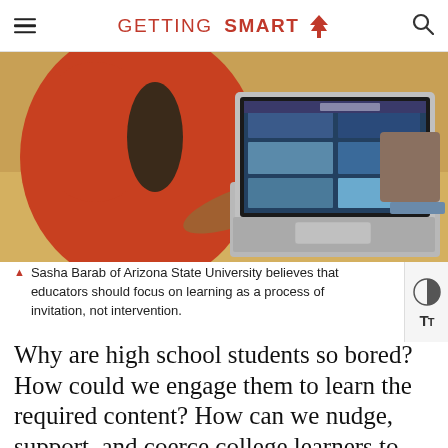GETTING SMART
[Figure (photo): A person in a red shirt pointing at a laptop screen displaying a website with multiple image thumbnails, sitting at a wooden table.]
Sasha Barab of Arizona State University believes that educators should focus on learning as a process of invitation, not intervention.
Why are high school students so bored? How could we engage them to learn the required content? How can we nudge, support, and coerce college learners to graduation?